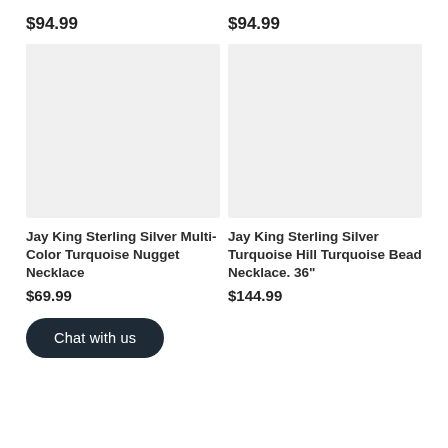$94.99
$94.99
[Figure (photo): Product image placeholder (light gray rectangle) for left item]
[Figure (photo): Product image placeholder (light gray rectangle) for right item]
Jay King Sterling Silver Multi-Color Turquoise Nugget Necklace
$69.99
Jay King Sterling Silver Turquoise Hill Turquoise Bead Necklace. 36"
$144.99
Chat with us